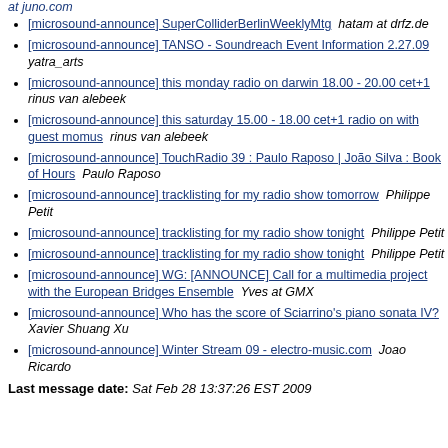[microsound-announce] SuperColliderBerlinWeeklyMtg  hatam at drfz.de
[microsound-announce] TANSO - Soundreach Event Information 2.27.09  yatra_arts
[microsound-announce] this monday radio on darwin 18.00 - 20.00 cet+1  rinus van alebeek
[microsound-announce] this saturday 15.00 - 18.00 cet+1 radio on with guest momus  rinus van alebeek
[microsound-announce] TouchRadio 39 : Paulo Raposo | João Silva : Book of Hours  Paulo Raposo
[microsound-announce] tracklisting for my radio show tomorrow  Philippe Petit
[microsound-announce] tracklisting for my radio show tonight  Philippe Petit
[microsound-announce] tracklisting for my radio show tonight  Philippe Petit
[microsound-announce] WG: [ANNOUNCE] Call for a multimedia project with the European Bridges Ensemble  Yves at GMX
[microsound-announce] Who has the score of Sciarrino's piano sonata IV?  Xavier Shuang Xu
[microsound-announce] Winter Stream 09 - electro-music.com  Joao Ricardo
Last message date: Sat Feb 28 13:37:26 EST 2009